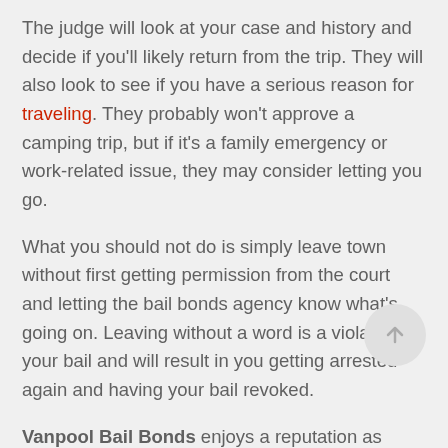The judge will look at your case and history and decide if you'll likely return from the trip. They will also look to see if you have a serious reason for traveling. They probably won't approve a camping trip, but if it's a family emergency or work-related issue, they may consider letting you go.
What you should not do is simply leave town without first getting permission from the court and letting the bail bonds agency know what's going on. Leaving without a word is a violation of your bail and will result in you getting arrested again and having your bail revoked.
Vanpool Bail Bonds enjoys a reputation as California's most reliable bail bonds agency. We offer flexible payment plans, fast and